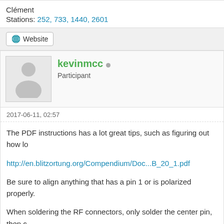Clément
Stations: 252, 733, 1440, 2601
[Figure (other): Website button with globe icon]
kevinmcc
Participant
2017-06-11, 02:57
The PDF instructions has a lot great tips, such as figuring out how lo
http://en.blitzortung.org/Compendium/Doc...B_20_1.pdf
Be sure to align anything that has a pin 1 or is polarized properly.
When soldering the RF connectors, only solder the center pin, then c
If you are happy with alignment, then solder the outer pins.